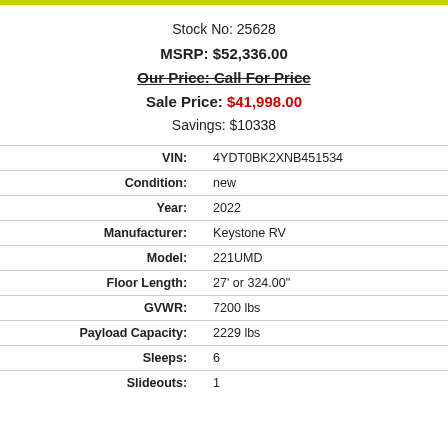Stock No: 25628
MSRP: $52,336.00
Our Price: Call For Price
Sale Price: $41,998.00
Savings: $10338
| Field | Value |
| --- | --- |
| VIN: | 4YDT0BK2XNB451534 |
| Condition: | new |
| Year: | 2022 |
| Manufacturer: | Keystone RV |
| Model: | 221UMD |
| Floor Length: | 27' or 324.00" |
| GVWR: | 7200 lbs |
| Payload Capacity: | 2229 lbs |
| Sleeps: | 6 |
| Slideouts: | 1 |